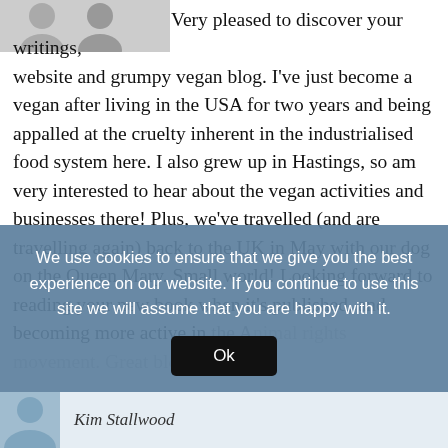[Figure (illustration): Two grey avatar silhouette icons side by side at top left]
Very pleased to discover your writings, website and grumpy vegan blog. I've just become a vegan after living in the USA for two years and being appalled at the cruelty inherent in the industrialised food system here. I also grew up in Hastings, so am very interested to hear about the vegan activities and businesses there! Plus, we've travelled (and are travelling again) back to the UK in May with our dog on the Queen Mary. Small world! Looking forward to reading your new book when it's published, and becoming more active in the Animal rights movement. Great blog.
We use cookies to ensure that we give you the best experience on our website. If you continue to use this site we will assume that you are happy with it.
Ok
Kim Stallwood